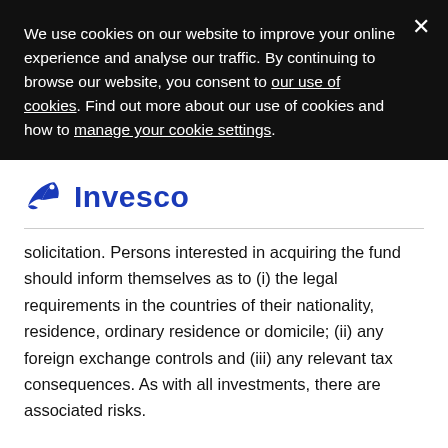We use cookies on our website to improve your online experience and analyse our traffic. By continuing to browse our website, you consent to our use of cookies. Find out more about our use of cookies and how to manage your cookie settings.
[Figure (logo): Invesco logo with blue rocket/bird icon and blue bold 'Invesco' text]
solicitation. Persons interested in acquiring the fund should inform themselves as to (i) the legal requirements in the countries of their nationality, residence, ordinary residence or domicile; (ii) any foreign exchange controls and (iii) any relevant tax consequences. As with all investments, there are associated risks.
This marketing communication is by way of